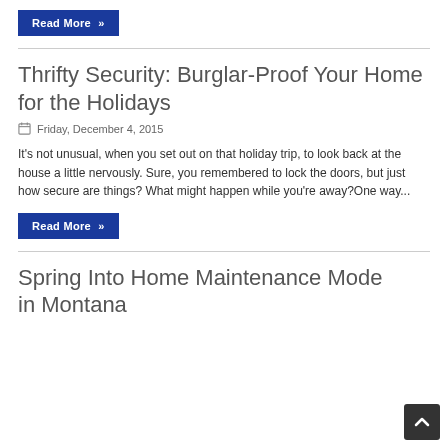Read More »
Thrifty Security: Burglar-Proof Your Home for the Holidays
Friday, December 4, 2015
It's not unusual, when you set out on that holiday trip, to look back at the house a little nervously. Sure, you remembered to lock the doors, but just how secure are things? What might happen while you're away?One way...
Read More »
Spring Into Home Maintenance Mode in Montana